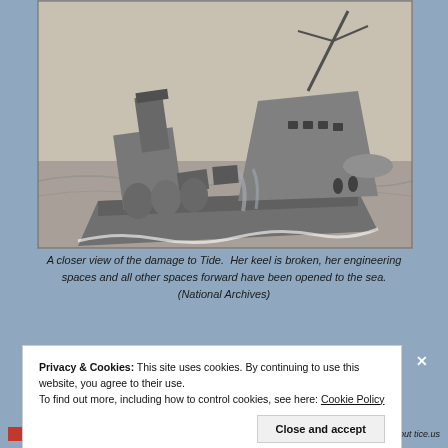[Figure (photo): Black and white photograph of a damaged warship listing heavily to one side in the water. The ship's keel is broken and her forward spaces are opened to the sea. Debris and equipment are visible on deck.]
A closer view of the damage to Tide. Her keel is broken, her engineering spaces and all other spaces forward have been opened to the sea. (National Archives)
Privacy & Cookies: This site uses cookies. By continuing to use this website, you agree to their use. To find out more, including how to control cookies, see here: Cookie Policy